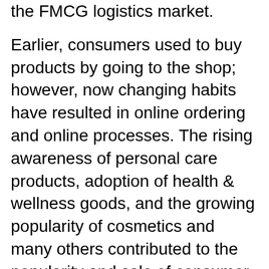the FMCG logistics market.
Earlier, consumers used to buy products by going to the shop; however, now changing habits have resulted in online ordering and online processes. The rising awareness of personal care products, adoption of health & wellness goods, and the growing popularity of cosmetics and many others contributed to the popularity and sale of consumer goods. Moreover, growing disposable income and changes in consumption patterns and lifestyles along with improved purchasing power promise exciting growth opportunities for the FMCG logistics market. Furthermore, increase in income, urbanization, and growth in organized retail drive the food & beverages consumption among